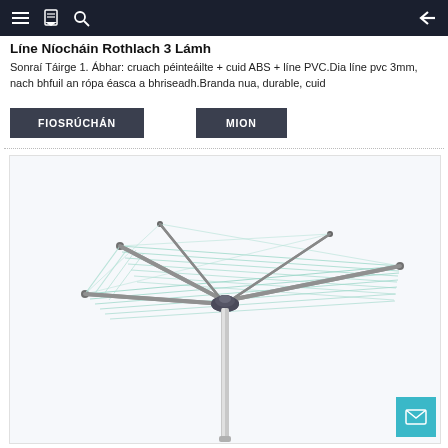Navigation bar with menu, bookmark, search, and back arrow icons
Líne Níocháin Rothlach 3 Lámh
Sonraí Táirge 1. Ábhar: cruach péinteáilte + cuid ABS + líne PVC.Dia líne pvc 3mm, nach bhfuil an rópa éasca a bhriseadh.Branda nua, durable, cuid
FIOSRÚCHÁN
MION
[Figure (photo): A rotary clothesline (3-arm whirligig/airer) with a silver metal pole and grey arms extending outward, strung with light mint/teal PVC lines forming a canopy shape. White/light grey background.]